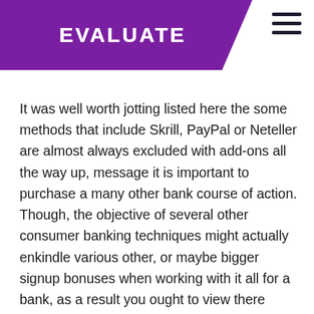EVALUATE
It was well worth jotting listed here the some methods that include Skrill, PayPal or Neteller are almost always excluded with add-ons all the way up, message it is important to purchase a many other bank course of action. Though, the objective of several other consumer banking techniques might actually enkindle various other, or maybe bigger signup bonuses when working with it all for a bank, as a result you ought to view there options. A difference between your additionally,the greetings match pay in applies